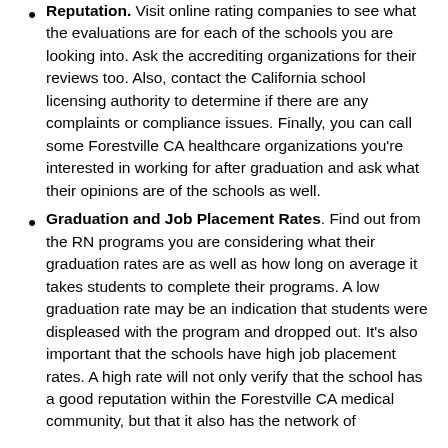Reputation. Visit online rating companies to see what the evaluations are for each of the schools you are looking into. Ask the accrediting organizations for their reviews too. Also, contact the California school licensing authority to determine if there are any complaints or compliance issues. Finally, you can call some Forestville CA healthcare organizations you're interested in working for after graduation and ask what their opinions are of the schools as well.
Graduation and Job Placement Rates. Find out from the RN programs you are considering what their graduation rates are as well as how long on average it takes students to complete their programs. A low graduation rate may be an indication that students were displeased with the program and dropped out. It's also important that the schools have high job placement rates. A high rate will not only verify that the school has a good reputation within the Forestville CA medical community, but that it also has the network of